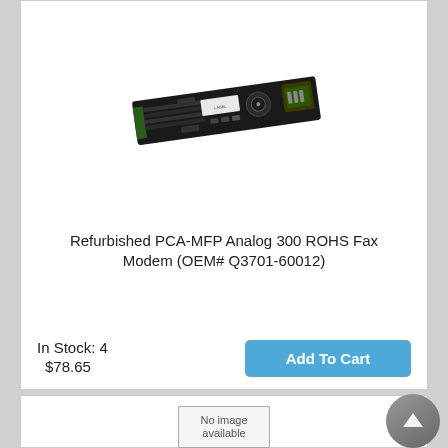[Figure (photo): Photo of a refurbished PCA-MFP Analog 300 ROHS Fax Modem circuit board, dark/black PCB with various components including a circular component and connector]
Refurbished PCA-MFP Analog 300 ROHS Fax Modem (OEM# Q3701-60012)
In Stock: 4
$78.65
[Figure (other): No image available placeholder box at bottom of page]